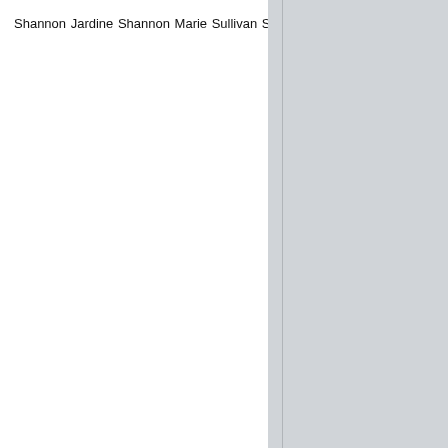Shannon Jardine Shannon Marie Sullivan Shannon Woodward Shannyn Sossamon Sharleen Temple Sharlto Copley Sharon Corr Sharon Gless Sharon Horgan Shaun Aylward Shaun Gale Shaun Toub Shaun Williams Shawn Roberts Shawn Seward Shazam! She's All That Sheena Larkin Sheffield United FC Sheffield Wednesday FC Shelley Berman Shelley Poole Shelves Sherilyn Fenn Sheryl Lee Shira Lazar Shiri Appleby Shirley Eaton Shirley Henderson Shivers Shrewsbury Town FC Shu Chen Shôgo Shimada Sia Siale Tunoka Sicily Rose Sid James Sidney James Siena Agudong Sienna Guillory Sierra McCormick Signature Aviation Sigourney Weaver Simon & Garfunkel Simon Baker Simon Delaney Simon Greenall Simon Pegg Simon Phillips Simple Minds Sinead Maguire Sink The Bismarck Siobhan Fallon Hogan Siobhan Murphy Sisqó Sissi Petropoulou Skelmersdale United FC Skin Deep Skyler Samuels Skyler Stone Slavitza Jovan Sleeping With Other People Slim DeGrey SM10